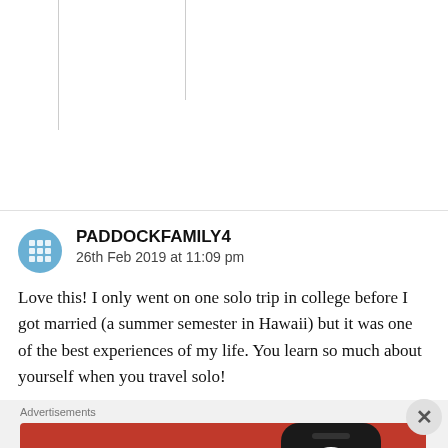[Figure (other): Top white section with two vertical lines suggesting a previous comment or content area]
PADDOCKFAMILY4
26th Feb 2019 at 11:09 pm
Love this! I only went on one solo trip in college before I got married (a summer semester in Hawaii) but it was one of the best experiences of my life. You learn so much about yourself when you travel solo!
Advertisements
[Figure (screenshot): DuckDuckGo advertisement banner: orange/red background with white bold text 'Search, browse, and email with more privacy.' and a button 'All in One Free App', with a stylized phone showing the DuckDuckGo logo on the right side.]